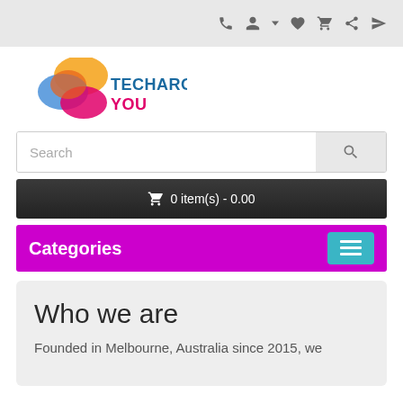TechAroundYou website header with navigation icons
[Figure (logo): TechAroundYou logo with colorful geometric shapes and text TECHAROUND YOU]
Search
0 item(s) - 0.00
Categories
Who we are
Founded in Melbourne, Australia since 2015, we